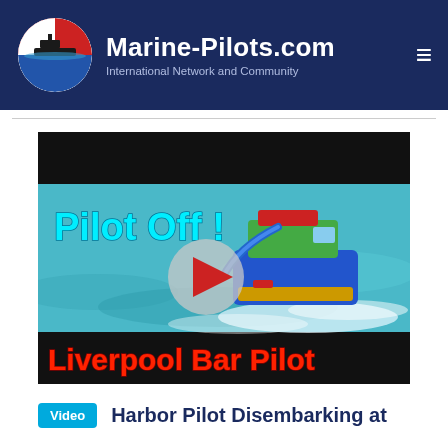Marine-Pilots.com — International Network and Community
[Figure (screenshot): Video thumbnail showing a Liverpool Bar Pilot boat on the water. Text overlay reads 'Pilot Off!' in cyan/teal at top left and 'Liverpool Bar Pilot' in red at the bottom. A white play button circle is centered on the image.]
Harbor Pilot Disembarking at